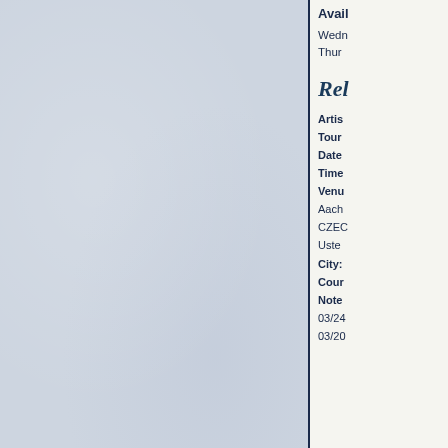[Figure (illustration): Left panel with light blue/grey textured background, appears to be a scanned book page spread]
Avail
Wednesday
Thursday
Rel
Artist:
Tour:
Date:
Time:
Venue:
Aach
CZEC
Uster
City:
Coun
Note
03/24
03/20